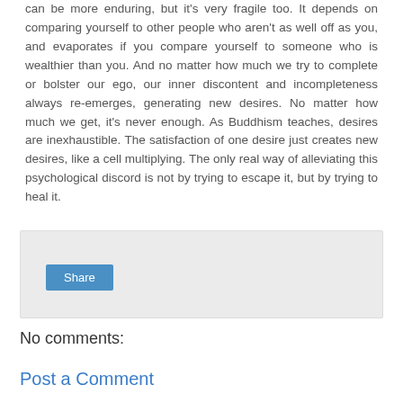can be more enduring, but it's very fragile too. It depends on comparing yourself to other people who aren't as well off as you, and evaporates if you compare yourself to someone who is wealthier than you. And no matter how much we try to complete or bolster our ego, our inner discontent and incompleteness always re-emerges, generating new desires. No matter how much we get, it's never enough. As Buddhism teaches, desires are inexhaustible. The satisfaction of one desire just creates new desires, like a cell multiplying. The only real way of alleviating this psychological discord is not by trying to escape it, but by trying to heal it.
[Figure (other): A light gray share box with a blue Share button inside]
No comments:
Post a Comment